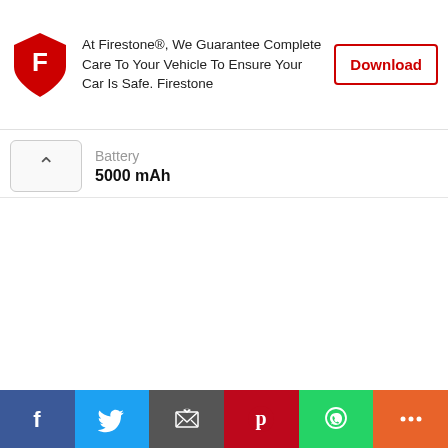[Figure (advertisement): Firestone app advertisement banner with red shield logo, text about complete care, and a Download button]
Battery
5000 mAh
[Figure (infographic): Social media share bar with icons for Facebook, Twitter, Email, Pinterest, WhatsApp, and More]